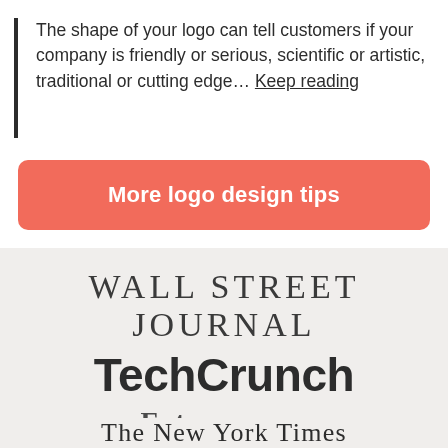The shape of your logo can tell customers if your company is friendly or serious, scientific or artistic, traditional or cutting edge… Keep reading
[Figure (other): Coral/salmon colored call-to-action button with white bold text reading 'More logo design tips']
[Figure (other): Light gray press/media section showing logos of Wall Street Journal, TechCrunch, Entrepreneur, and The New York Times in their respective typographic styles]